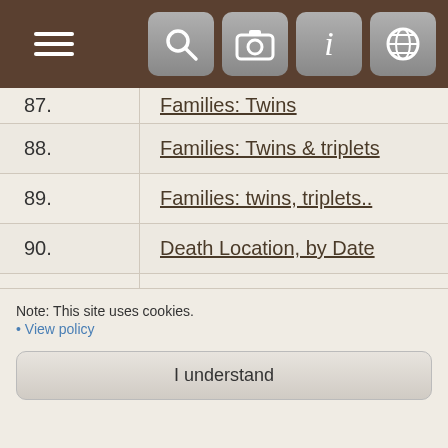Navigation bar with hamburger menu and icons
87. Families: Twins
88. Families: Twins & triplets
89. Families: twins, triplets..
90. Death Location, by Date
91. Death Location, by Location
92. Death Location, by Person
93. Emigration report
94. Emigration report - Pattinson Tree
95. Emigration Report - Wright & Savill Tree
Note: This site uses cookies.
• View policy
I understand